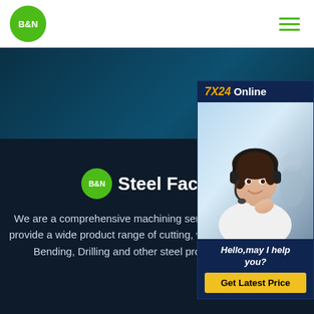[Figure (logo): B&N logo — green circle with white bold text B&N]
[Figure (other): Hamburger menu icon — three green horizontal lines]
[Figure (photo): Dark teal hero banner image area]
[Figure (photo): 7X24 Online chat widget with photo of smiling woman wearing headset]
B&N Steel Factory
We are a comprehensive machining service platform! We can provide a wide product range of cutting, welding, turning, Bevel, Bending, Drilling and other steel processing services.